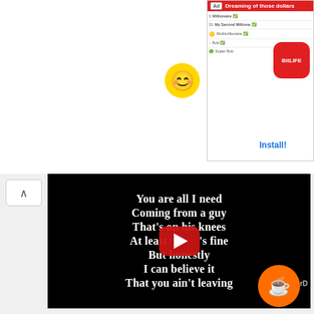[Figure (screenshot): Advertisement banner for BitLife app — shows 'Dreaming of those dollars' headline in red, a leaderboard list, a smiley emoji sticker, the BitLife app icon, and an 'Install!' link.]
[Figure (screenshot): YouTube video player embedded in a webpage showing song lyrics on black background: 'You are all I need / Coming from a guy / That's on his knees / At least [that]'s fine / But honestly / I can believe it / That you ain't leaving' with a YouTube play button overlay and 'by PowerDirector' watermark. An orange Ko-fi button is in the bottom right corner.]